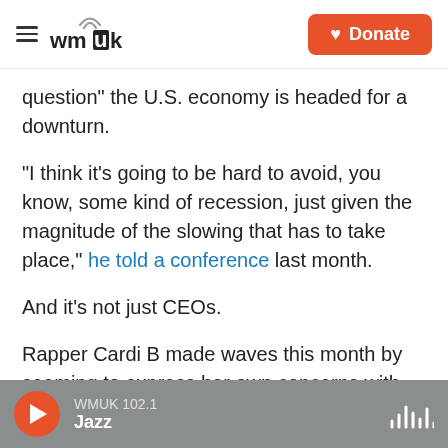wmuk — Donate
question" the U.S. economy is headed for a downturn.
"I think it's going to be hard to avoid, you know, some kind of recession, just given the magnitude of the slowing that has to take place," he told a conference last month.
And it's not just CEOs.
Rapper Cardi B made waves this month by seeming to express her own concerns with the economy in a tweet.
WMUK 102.1 Jazz